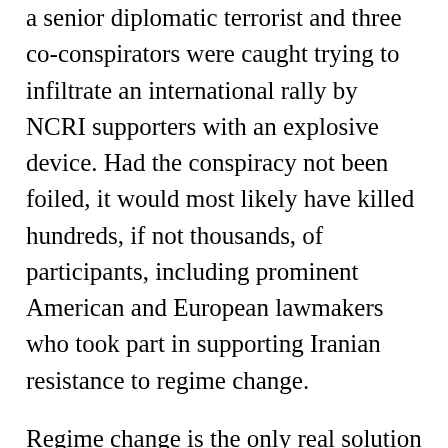a senior diplomatic terrorist and three co-conspirators were caught trying to infiltrate an international rally by NCRI supporters with an explosive device. Had the conspiracy not been foiled, it would most likely have killed hundreds, if not thousands, of participants, including prominent American and European lawmakers who took part in supporting Iranian resistance to regime change.
Regime change is the only real solution to all the problems currently emanating from religious fascism in Iran. Raisi's appointment alone is a clear signal that the regime has no interest in reckoning with its own past deeds, even if these deeds can credibly be described as genocide and crimes against humanity. On the contrary, the regime has successively rewarded a number of perpetrators of the 1988 massacre, Raisi being only the most recent, albeit the most important example.
The international community should know that Raisi's presidency will oversee the further escalation of the regime's crackdown on